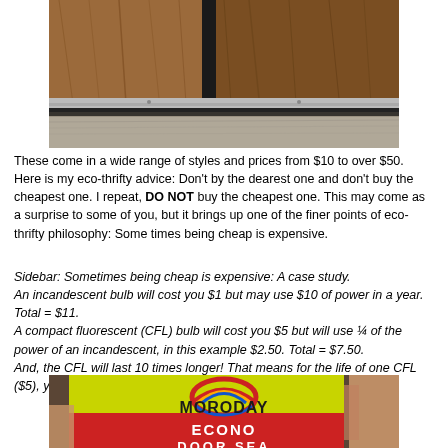[Figure (photo): Close-up photo of a door bottom seal/sweep installed on a wooden door, showing the metal threshold and rubber sweep strip at floor level.]
These come in a wide range of styles and prices from $10 to over $50. Here is my eco-thrifty advice: Don't by the dearest one and don't buy the cheapest one. I repeat, DO NOT buy the cheapest one. This may come as a surprise to some of you, but it brings up one of the finer points of eco-thrifty philosophy: Some times being cheap is expensive.
Sidebar: Sometimes being cheap is expensive: A case study.
An incandescent bulb will cost you $1 but may use $10 of power in a year. Total = $11.
A compact fluorescent (CFL) bulb will cost you $5 but will use ¼ of the power of an incandescent, in this example $2.50. Total = $7.50.
And, the CFL will last 10 times longer! That means for the life of one CFL ($5), you would need to buy 10 incandescents ($10).
[Figure (photo): Photo of a hand holding a Moroday brand 'Econo Door Seal' product packaging with yellow and red colors and the Moroday logo (rainbow arc).]